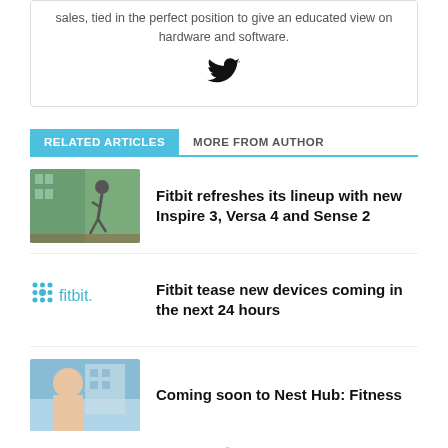sales, tied in the perfect position to give an educated view on hardware and software.
[Figure (logo): Twitter bird icon]
RELATED ARTICLES | MORE FROM AUTHOR
[Figure (photo): Person running outdoors checking fitness tracker]
Fitbit refreshes its lineup with new Inspire 3, Versa 4 and Sense 2
[Figure (logo): Fitbit logo with dot grid icon]
Fitbit tease new devices coming in the next 24 hours
[Figure (photo): Woman smiling near building - Nest Hub Fitness article]
Coming soon to Nest Hub: Fitness